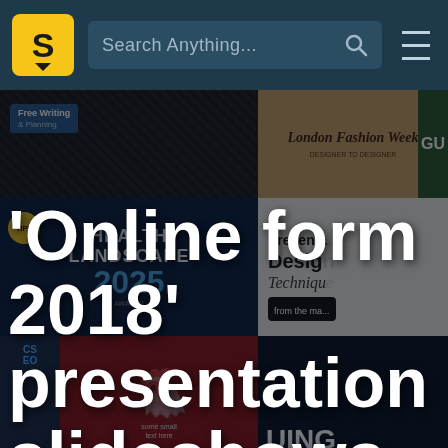S  Search Anything...  ☰
[Figure (screenshot): Background collage of presentation slides including Health Landscape 2025, London Fashion Week, Presentation Design Techniques, and other slides]
'Online form 2018' presentation slideshows